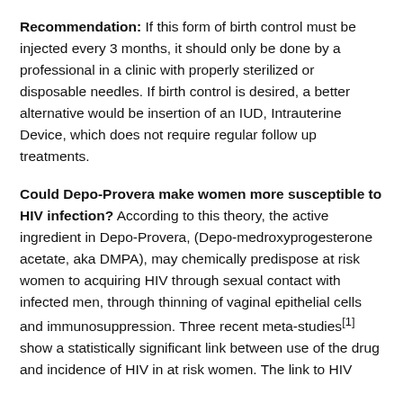Recommendation: If this form of birth control must be injected every 3 months, it should only be done by a professional in a clinic with properly sterilized or disposable needles. If birth control is desired, a better alternative would be insertion of an IUD, Intrauterine Device, which does not require regular follow up treatments.
Could Depo-Provera make women more susceptible to HIV infection? According to this theory, the active ingredient in Depo-Provera, (Depo-medroxyprogesterone acetate, aka DMPA), may chemically predispose at risk women to acquiring HIV through sexual contact with infected men, through thinning of vaginal epithelial cells and immunosuppression. Three recent meta-studies[1] show a statistically significant link between use of the drug and incidence of HIV in at risk women. The link to HIV